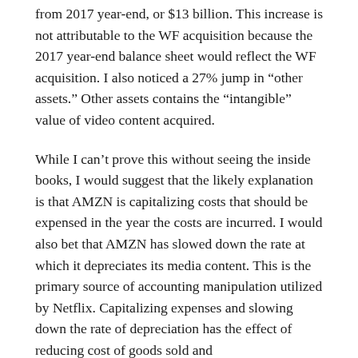from 2017 year-end, or $13 billion. This increase is not attributable to the WF acquisition because the 2017 year-end balance sheet would reflect the WF acquisition. I also noticed a 27% jump in “other assets.” Other assets contains the “intangible” value of video content acquired.
While I can’t prove this without seeing the inside books, I would suggest that the likely explanation is that AMZN is capitalizing costs that should be expensed in the year the costs are incurred. I would also bet that AMZN has slowed down the rate at which it depreciates its media content. This is the primary source of accounting manipulation utilized by Netflix. Capitalizing expenses and slowing down the rate of depreciation has the effect of reducing cost of goods sold and